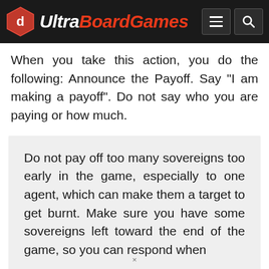UltraBoardGames
When you take this action, you do the following: Announce the Payoff. Say "I am making a payoff". Do not say who you are paying or how much.
Do not pay off too many sovereigns too early in the game, especially to one agent, which can make them a target to get burnt. Make sure you have some sovereigns left toward the end of the game, so you can respond when